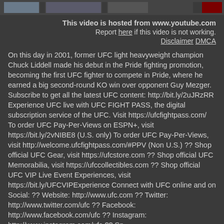[Figure (screenshot): Top banner strip with blurred/partial images in dark background]
This video is hosted from www.youtube.com
Report here if this video is not working.
Disclaimer DMCA
On this day in 2001, former UFC light heavyweight champion Chuck Liddell made his debut in the Pride fighting promotion, becoming the first UFC fighter to compete in Pride, where he earned a big second-round KO win over opponent Guy Mezger. Subscribe to get all the latest UFC content: http://bit.ly/2uJRzRR Experience UFC live with UFC FIGHT PASS, the digital subscription service of the UFC. Visit https://ufcfightpass.com/ To order UFC Pay-Per-Views on ESPN+, visit https://bit.ly/2vNIBE8 (U.S. only) To order UFC Pay-Per-Views, visit http://welcome.ufcfightpass.com/#PPV (Non U.S.) ?? Shop official UFC Gear, visit https://ufcstore.com ?? Shop official UFC Memorabilia, visit https://ufccollectibles.com ?? Shop official UFC VIP Live Event Experiences, visit https://bit.ly/UFCVIPExperience Connect with UFC online and on Social: ?? Website: http://www.ufc.com ?? Twitter: http://www.twitter.com/ufc ?? Facebook: http://www.facebook.com/ufc ?? Instagram: http://www.instagram.com/ufc ?? Sn